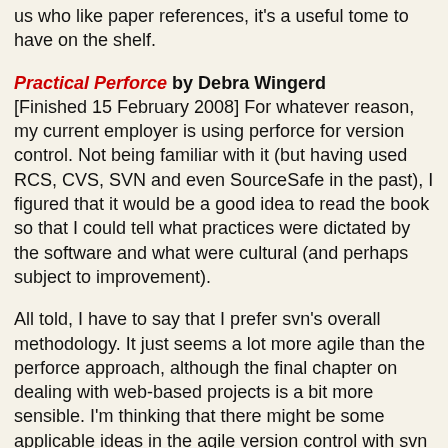us who like paper references, it's a useful tome to have on the shelf.
Practical Perforce by Debra Wingerd [Finished 15 February 2008] For whatever reason, my current employer is using perforce for version control. Not being familiar with it (but having used RCS, CVS, SVN and even SourceSafe in the past), I figured that it would be a good idea to read the book so that I could tell what practices were dictated by the software and what were cultural (and perhaps subject to improvement).
All told, I have to say that I prefer svn's overall methodology. It just seems a lot more agile than the perforce approach, although the final chapter on dealing with web-based projects is a bit more sensible. I'm thinking that there might be some applicable ideas in the agile version control with svn book, despite the use of the word "svn" in the title.